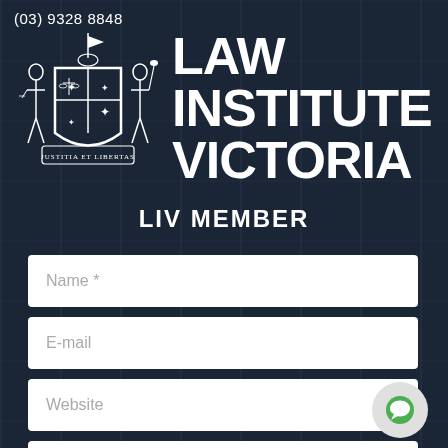(03) 9328 8848
[Figure (logo): Law Institute Victoria coat of arms crest with two figures flanking a shield, motto JUSTITIA ET LIBERTAS, in white on dark background]
LAW INSTITUTE VICTORIA
LIV MEMBER
Name *
E-mail
Website
Message *